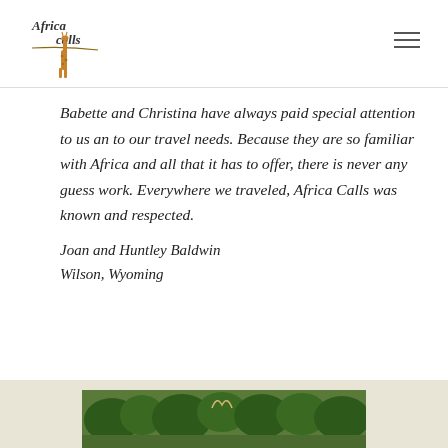[Figure (logo): Africa Calls logo with stylized text and giraffe illustration]
Babette and Christina have always paid special attention to us an to our travel needs. Because they are so familiar with Africa and all that it has to offer, there is never any guess work. Everywhere we traveled, Africa Calls was known and respected.
Joan and Huntley Baldwin
Wilson, Wyoming
[Figure (photo): Partial photo of African landscape with trees visible at bottom of page]